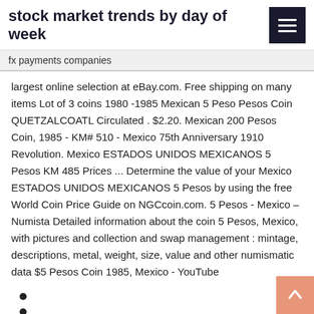stock market trends by day of week
fx payments companies
largest online selection at eBay.com. Free shipping on many items Lot of 3 coins 1980 -1985 Mexican 5 Peso Pesos Coin QUETZALCOATL Circulated . $2.20. Mexican 200 Pesos Coin, 1985 - KM# 510 - Mexico 75th Anniversary 1910 Revolution. Mexico ESTADOS UNIDOS MEXICANOS 5 Pesos KM 485 Prices ... Determine the value of your Mexico ESTADOS UNIDOS MEXICANOS 5 Pesos by using the free World Coin Price Guide on NGCcoin.com. 5 Pesos - Mexico – Numista Detailed information about the coin 5 Pesos, Mexico, with pictures and collection and swap management : mintage, descriptions, metal, weight, size, value and other numismatic data $5 Pesos Coin 1985, Mexico - YouTube